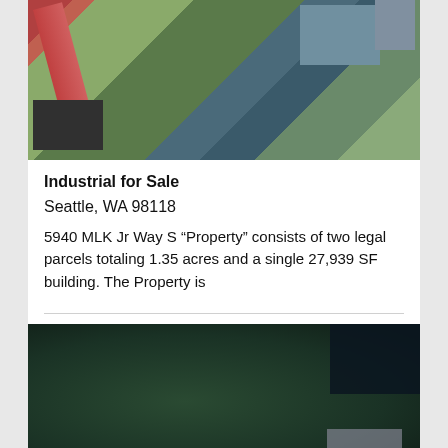[Figure (photo): Aerial view of urban Seattle neighborhood showing buildings, trees, roads, and parking areas]
Industrial for Sale
Seattle, WA 98118
5940 MLK Jr Way S "Property" consists of two legal parcels totaling 1.35 acres and a single 27,939 SF building. The Property is
[Figure (photo): Aerial view of dense tree canopy with industrial building visible in lower right corner]